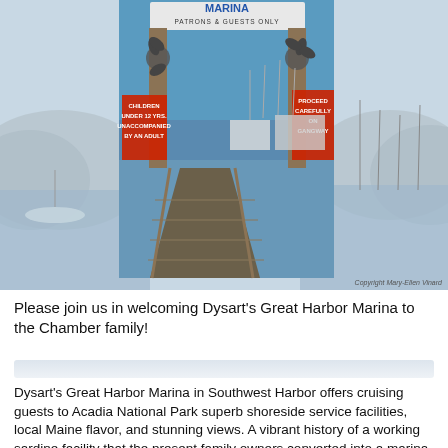[Figure (photo): Photo of Dysart's Great Harbor Marina entrance gate with a sign reading 'MARINA PATRONS & GUESTS ONLY', a wooden dock gangway leading to boats, safety signs on wooden posts, clear blue sky, calm harbor water with sailboats in background.]
Please join us in welcoming Dysart's Great Harbor Marina to the Chamber family!
Dysart's Great Harbor Marina in Southwest Harbor offers cruising guests to Acadia National Park superb shoreside service facilities, local Maine flavor, and stunning views. A vibrant history of a working sardine facility that the present family owners converted into a marina in 1990. A dock master and line handling crew full of local